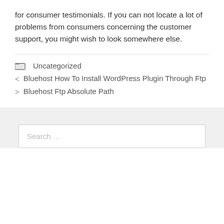for consumer testimonials. If you can not locate a lot of problems from consumers concerning the customer support, you might wish to look somewhere else.
Uncategorized
< Bluehost How To Install WordPress Plugin Through Ftp
> Bluehost Ftp Absolute Path
Search …